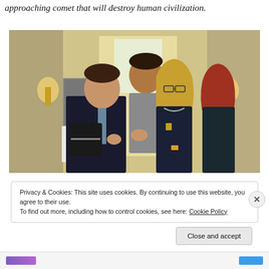approaching comet that will destroy human civilization.
[Figure (photo): Four people walking down a hallway. A man in a suit with a tie carries a bag on the left. Behind him is a taller man in a grey coat. In the center-right is a woman with blonde hair wearing glasses and a dark blazer. On the far right is a red-haired woman in a dark outfit.]
Privacy & Cookies: This site uses cookies. By continuing to use this website, you agree to their use.
To find out more, including how to control cookies, see here: Cookie Policy
Close and accept